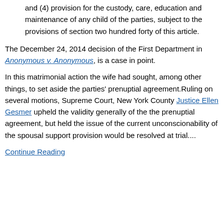and (4) provision for the custody, care, education and maintenance of any child of the parties, subject to the provisions of section two hundred forty of this article.
The December 24, 2014 decision of the First Department in Anonymous v. Anonymous, is a case in point.
In this matrimonial action the wife had sought, among other things, to set aside the parties' prenuptial agreement.Ruling on several motions, Supreme Court, New York County Justice Ellen Gesmer upheld the validity generally of the the prenuptial agreement, but held the issue of the current unconscionability of the spousal support provision would be resolved at trial....
Continue Reading